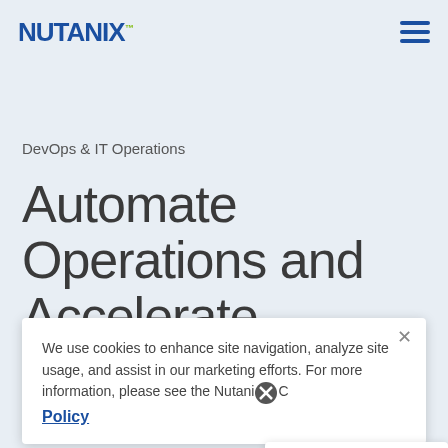[Figure (logo): Nutanix logo with blue text and green dot/trademark]
[Figure (infographic): Hamburger menu icon (three horizontal blue lines)]
DevOps & IT Operations
Automate Operations and Accelerate Service
We use cookies to enhance site navigation, analyze site usage, and assist in our marketing efforts. For more information, please see the Nutanix Cookie Policy
Hey there 👋 can I ask you a quick question?